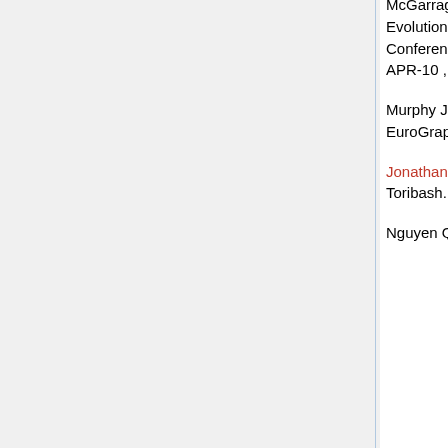McGarraghy, S. ; (2010) An Analysis of Genotype-Phenotype Maps in Grammatical Evolution. In: Lecture Notes in Computer Science Vol. 6021, Springer eds. 13th European Conference on Genetic Programming (EuroGP 2010) Istanbul, Turkey, , 07-APR-10 - 09-APR-10 , pp.62-73
Murphy J.E., Carr H., Michael O'Neill; (2010) Animating Horse Gaits and Transitions. EuroGraphics UK Theory and Practice of Computer Graphics 2010
Jonathan Byrne, O'Neill M., Anthony Brabazon (2010) Optimising Offensive Moves in Toribash. Proceedings of Mendel 2010 16th International Conference on Soft Computing
Nguyen Q.U., Nguyen X.H., Michael O'Neill, McKay B.; (2010) The Role of